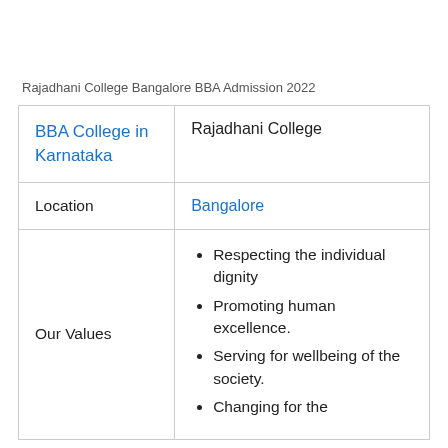Rajadhani College Bangalore BBA Admission 2022
| BBA College in Karnataka | Rajadhani College |
| Location | Bangalore |
| Our Values | Respecting the individual dignity
Promoting human excellence.
Serving for wellbeing of the society.
Changing for the |